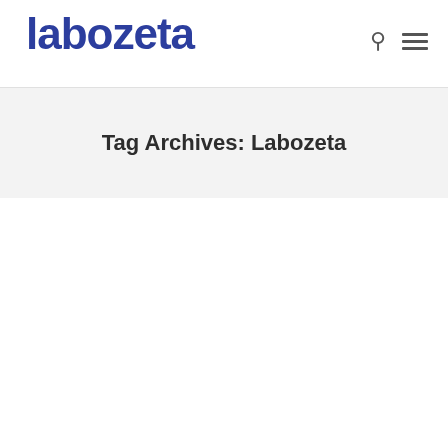labozeta
Tag Archives: Labozeta